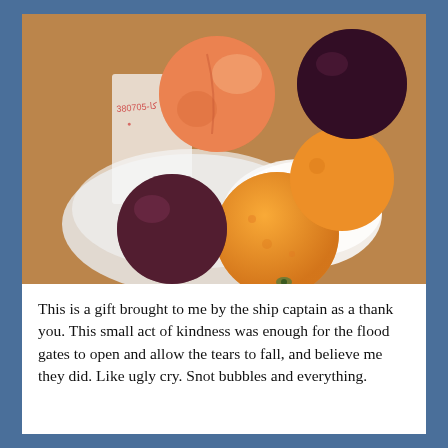[Figure (photo): A top-down photograph of several pieces of fruit — oranges, plums, and a peach — sitting on a plastic grocery bag on a cardboard surface.]
This is a gift brought to me by the ship captain as a thank you. This small act of kindness was enough for the flood gates to open and allow the tears to fall, and believe me they did. Like ugly cry. Snot bubbles and everything.